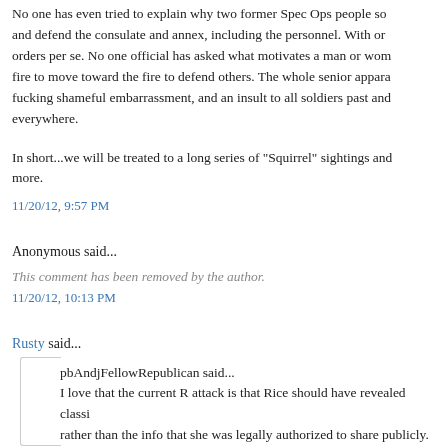No one has even tried to explain why two former Spec Ops people so... and defend the consulate and annex, including the personnel. With or... orders per se. No one official has asked what motivates a man or wom... fire to move toward the fire to defend others. The whole senior appara... fucking shameful embarrassment, and an insult to all soldiers past and... everywhere.
In short...we will be treated to a long series of "Squirrel" sightings and... more.
11/20/12, 9:57 PM
Anonymous said...
This comment has been removed by the author.
11/20/12, 10:13 PM
Rusty said...
pbAndjFellowRepublican said...
I love that the current R attack is that Rice should have revealed classi... rather than the info that she was legally authorized to share publicly.